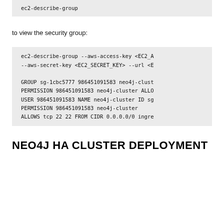ec2-describe-group
to view the security group:
ec2-describe-group --aws-access-key <EC2_A
--aws-secret-key <EC2_SECRET_KEY> --url <E

GROUP sg-1cbc5777 986451091583 neo4j-clust
PERMISSION 986451091583 neo4j-cluster ALLO
USER 986451091583 NAME neo4j-cluster ID sg
PERMISSION 986451091583 neo4j-cluster
ALLOWS tcp 22 22 FROM CIDR 0.0.0.0/0 ingre
NEO4J HA CLUSTER DEPLOYMENT